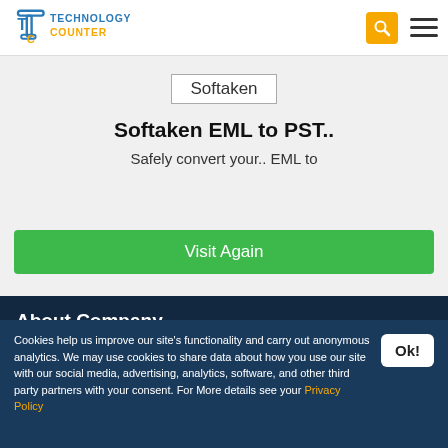Technology Counter
Softaken
Softaken EML to PST..
Safely convert your.. EML to
Visit Again
About Company
About Us
Cookies help us improve our site's functionality and carry out anonymous analytics. We may use cookies to share data about how you use our site with our social media, advertising, analytics, software, and other third party partners with your consent. For More details see your Privacy Policy